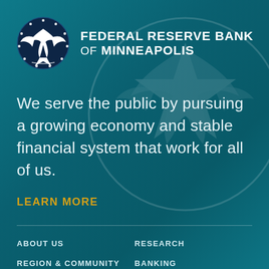[Figure (logo): Federal Reserve Bank of Minneapolis logo: eagle in a dark navy circle with stars, alongside bold white text reading FEDERAL RESERVE BANK OF MINNEAPOLIS]
We serve the public by pursuing a growing economy and stable financial system that work for all of us.
LEARN MORE
ABOUT US
RESEARCH
REGION & COMMUNITY
BANKING